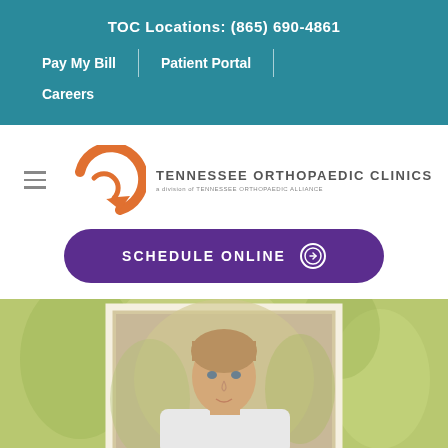TOC Locations: (865) 690-4861
Pay My Bill
Patient Portal
Careers
[Figure (logo): Tennessee Orthopaedic Clinics logo with orange circular arrow icon and text 'TENNESSEE ORTHOPAEDIC CLINICS, a division of TENNESSEE ORTHOPAEDIC ALLIANCE']
SCHEDULE ONLINE
[Figure (photo): Portrait photo of a young male doctor or provider with short brown hair, wearing professional attire, with a blurred outdoor background]